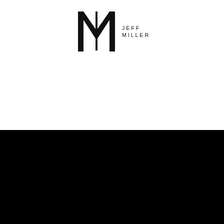[Figure (logo): JM Jeff Miller logo — large serif M monogram with 'JEFF MILLER' text to the right in spaced capitals]
[Figure (illustration): Black background section at bottom with white envelope icon and white phone icon on the right side]